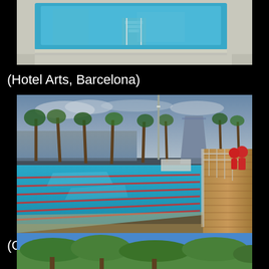[Figure (photo): Aerial/overhead view of a luxury swimming pool with blue water, tiled deck surround, and pool stairs, at Hotel Arts Barcelona]
(Hotel Arts, Barcelona)
[Figure (photo): Outdoor Olympic swimming pool with lane dividers, palm trees, sea view, W Hotel building in background, and a wooden deck walkway with metal railing, at Club Natacio Barcelona]
(Club Natacio Barcelona)
[Figure (photo): Partial view of trees and blue sky, bottom of page]